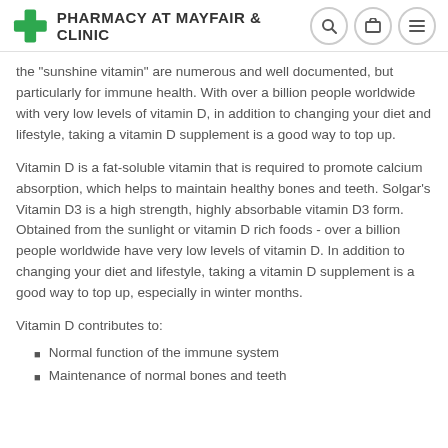PHARMACY AT MAYFAIR & CLINIC
the "sunshine vitamin" are numerous and well documented, but particularly for immune health. With over a billion people worldwide with very low levels of vitamin D, in addition to changing your diet and lifestyle, taking a vitamin D supplement is a good way to top up.
Vitamin D is a fat-soluble vitamin that is required to promote calcium absorption, which helps to maintain healthy bones and teeth. Solgar's Vitamin D3 is a high strength, highly absorbable vitamin D3 form. Obtained from the sunlight or vitamin D rich foods - over a billion people worldwide have very low levels of vitamin D. In addition to changing your diet and lifestyle, taking a vitamin D supplement is a good way to top up, especially in winter months.
Vitamin D contributes to:
Normal function of the immune system
Maintenance of normal bones and teeth